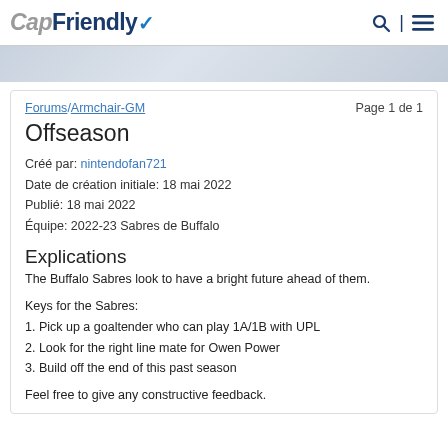CapFriendly
Forums/Armchair-GM  Page 1 de 1
Offseason
Créé par: nintendofan721
Date de création initiale: 18 mai 2022
Publié: 18 mai 2022
Équipe: 2022-23 Sabres de Buffalo
Explications
The Buffalo Sabres look to have a bright future ahead of them.
Keys for the Sabres:
1. Pick up a goaltender who can play 1A/1B with UPL
2. Look for the right line mate for Owen Power
3. Build off the end of this past season
Feel free to give any constructive feedback.